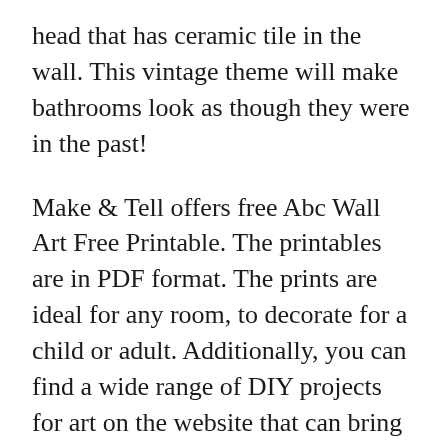head that has ceramic tile in the wall. This vintage theme will make bathrooms look as though they were in the past!
Make & Tell offers free Abc Wall Art Free Printable. The printables are in PDF format. The prints are ideal for any room, to decorate for a child or adult. Additionally, you can find a wide range of DIY projects for art on the website that can bring life to your room. Websites are a great source of inspiration, inspiration and inspiration. There are numerous stunning designs to choose from.
Feed Your Soul offers original art